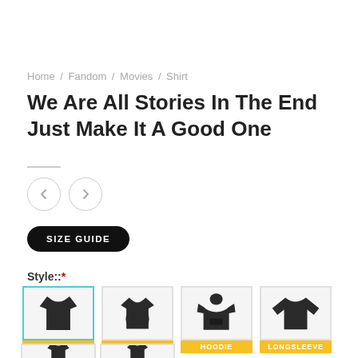Home / Fandom / Movies / Shirt
We Are All Stories In The End Just Make It A Good One
[Figure (illustration): Navigation arrow buttons (left and right chevrons in circular outlines)]
SIZE GUIDE
Style::*
[Figure (illustration): Four shirt style options: UNISEX (selected, teal border), WOMEN, HOODIE, LONGSLEEVE — each showing a dark shirt icon with a yellow label bar below]
[Figure (illustration): Partial row of additional shirt style thumbnails at the bottom of the page]